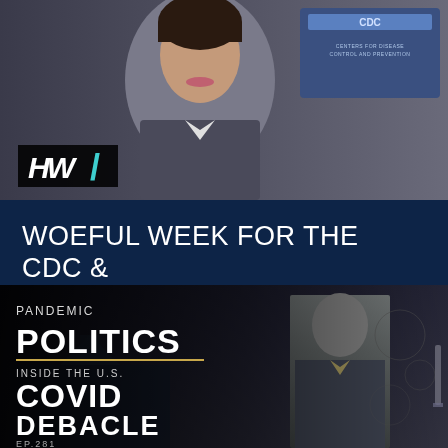[Figure (photo): Photo of a woman at a CDC podium, with HW logo overlay in bottom left corner]
WOEFUL WEEK FOR THE CDC & WALENSKY
DETAILS
[Figure (photo): Podcast thumbnail: Pandemic Politics - Inside the U.S. Covid Debacle, EP.281, showing a man in a suit with Capitol building background and virus imagery]